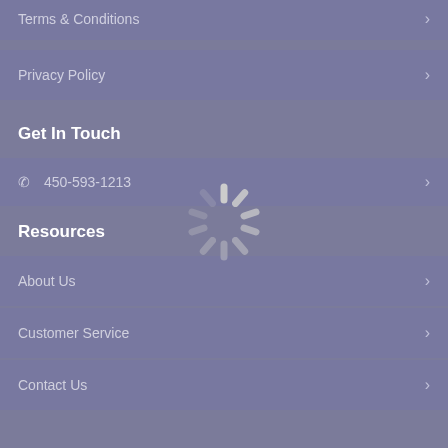Terms & Conditions
Privacy Policy
Get In Touch
450-593-1213
Resources
About Us
Customer Service
Contact Us
[Figure (other): Loading spinner overlay in center of screen]